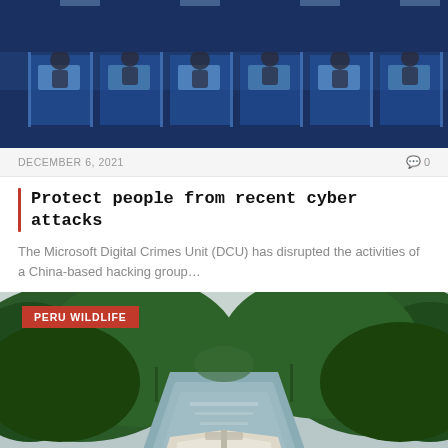[Figure (photo): Office scene with people working at computer workstations behind glass partitions, lit with blue lighting]
DECEMBER 6, 2021
0
Protect people from recent cyber attacks
The Microsoft Digital Crimes Unit (DCU) has disrupted the activities of a China-based hacking group...
[Figure (photo): View from the bow of a boat traveling down a river through dense jungle/forest, with green trees on both sides and overcast sky]
PERU WILDLIFE